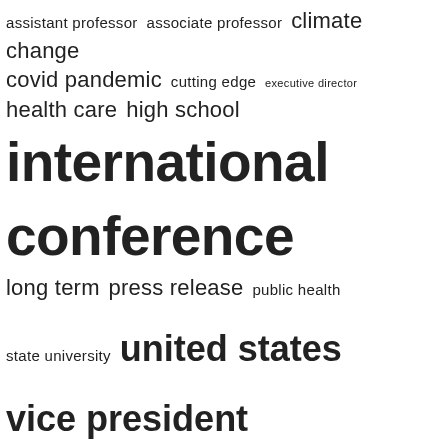[Figure (infographic): Tag cloud showing terms of varying font sizes: assistant professor, associate professor, climate change, covid pandemic, cutting edge, executive director, health care, high school, international conference, long term, press release, public health, state university, united states, vice president]
ARCHIVES
September 2022
August 2022
July 2022
June 2022